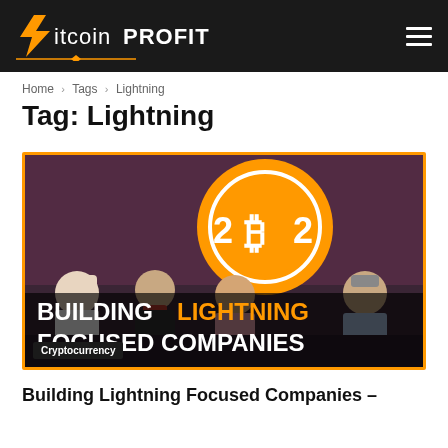Bitcoin Profit
Home › Tags › Lightning
Tag: Lightning
[Figure (screenshot): Video thumbnail showing four people seated on a stage couch with a large orange Bitcoin 2022 conference logo in the background. Bold text overlaid reads: BUILDING LIGHTNING FOCUSED COMPANIES with 'LIGHTNING' in orange. A 'Cryptocurrency' label badge appears at bottom left.]
Building Lightning Focused Companies –